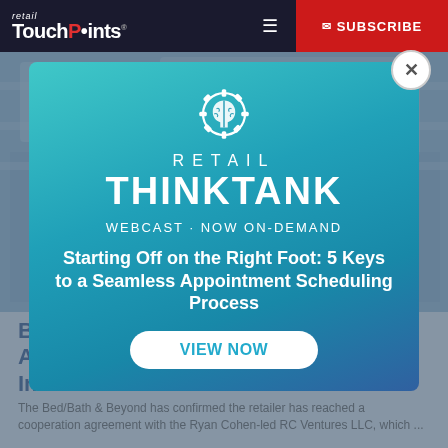retail TouchPoints® | SUBSCRIBE
[Figure (screenshot): Retail TouchPoints website screenshot showing a modal popup advertisement over a partially visible article. The modal is for 'Retail ThinkTank - Webcast Now On-Demand' promoting 'Starting Off on the Right Foot: 5 Keys to a Seamless Appointment Scheduling Process' with a 'VIEW NOW' call-to-action button. Background shows an article about BB&B reaching an agreement with activist investor RC Ventures LLC that includes new board members.]
BB&B Reaches Agreement with Activist Investor RC Ventures that Includes New Board Members
The Bed/Bath & Beyond has confirmed the retailer has reached a cooperation agreement with the Ryan Cohen-led RC Ventures LLC, which ...